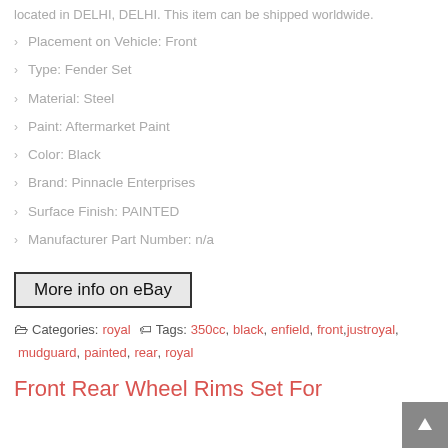located in DELHI, DELHI. This item can be shipped worldwide.
Placement on Vehicle: Front
Type: Fender Set
Material: Steel
Paint: Aftermarket Paint
Color: Black
Brand: Pinnacle Enterprises
Surface Finish: PAINTED
Manufacturer Part Number: n/a
More info on eBay
Categories: royal   Tags: 350cc, black, enfield, front, justroyal, mudguard, painted, rear, royal
Front Rear Wheel Rims Set For